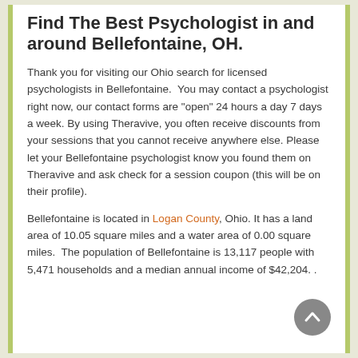Find The Best Psychologist in and around Bellefontaine, OH.
Thank you for visiting our Ohio search for licensed psychologists in Bellefontaine.  You may contact a psychologist right now, our contact forms are "open" 24 hours a day 7 days a week. By using Theravive, you often receive discounts from your sessions that you cannot receive anywhere else. Please let your Bellefontaine psychologist know you found them on Theravive and ask check for a session coupon (this will be on their profile).
Bellefontaine is located in Logan County, Ohio. It has a land area of 10.05 square miles and a water area of 0.00 square miles.  The population of Bellefontaine is 13,117 people with 5,471 households and a median annual income of $42,204. .